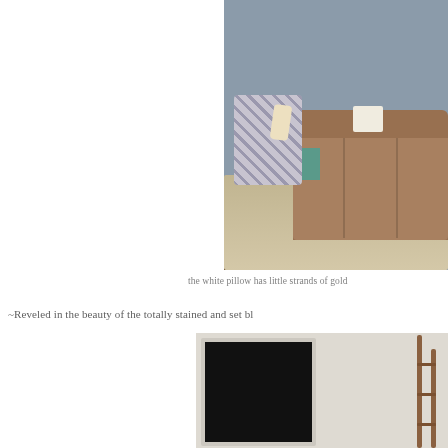[Figure (photo): Living room photo showing a patterned armchair with a blanket, a brown sectional sofa with a white pillow, a teal side table, a large beige shag rug, and dark wood floors against a grey-blue wall.]
the white pillow has little strands of gold
~Reveled in the beauty of the totally stained and set bl
[Figure (photo): Photo of a large flat-screen TV in a white/light frame leaning against a wall, with a wooden ladder leaning to the right.]